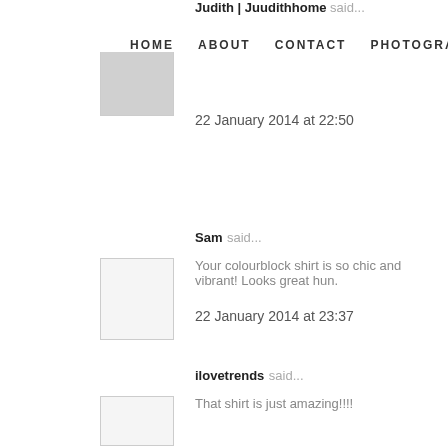HOME  ABOUT  CONTACT  PHOTOGRAPHY
Judith | Juudithhome said...
22 January 2014 at 22:50
Sam said...
Your colourblock shirt is so chic and vibrant! Looks great hun.
22 January 2014 at 23:37
ilovetrends said...
That shirt is just amazing!!!!
xoxo
23 January 2014 at 00:14
Sveva said...
cool look!
http://rueoh.blogspot.it/
23 January 2014 at 12:36
Cicio said...